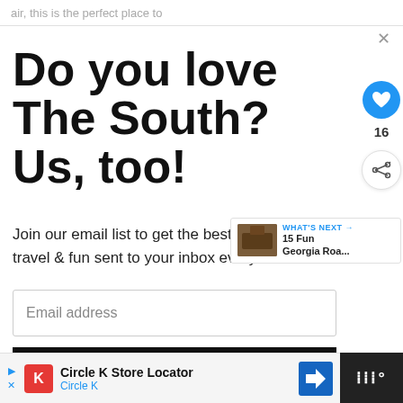air, this is the perfect place to
Do you love The South? Us, too!
Join our email list to get the best in Southern travel & fun sent to your inbox every month.
Email address
Subscribe
WHAT'S NEXT → 15 Fun Georgia Roa...
Circle K Store Locator
Circle K